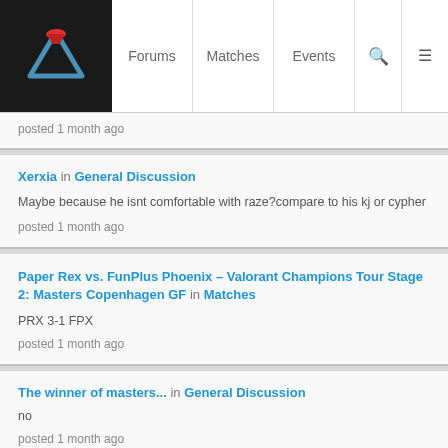Forums | Matches | Events
posted 1 month ago
Xerxia in General Discussion
Maybe because he isnt comfortable with raze?compare to his kj or cypher
posted 1 month ago
Paper Rex vs. FunPlus Phoenix – Valorant Champions Tour Stage 2: Masters Copenhagen GF in Matches
PRX 3-1 FPX
posted 1 month ago
The winner of masters... in General Discussion
no
posted 1 month ago